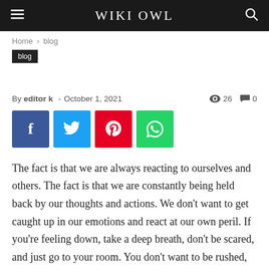WIKI OWL
Home › blog
blog
█████ █████ ██████
By editor k - October 1, 2021   👁 26   💬 0
[Figure (other): Social share buttons: Facebook, Twitter, Pinterest, WhatsApp]
The fact is that we are always reacting to ourselves and others. The fact is that we are constantly being held back by our thoughts and actions. We don't want to get caught up in our emotions and react at our own peril. If you're feeling down, take a deep breath, don't be scared, and just go to your room. You don't want to be rushed, so you just relax.